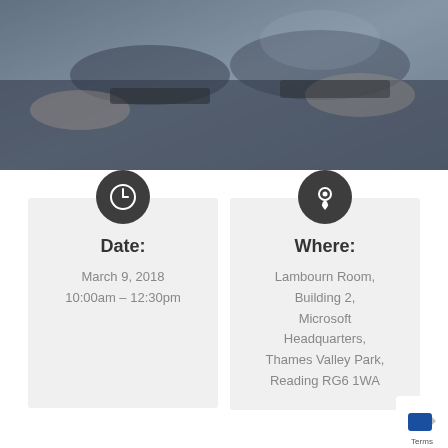[Figure (photo): Blurred photo of people working at a desk with laptops, dark table surface visible]
Date:
March 9, 2018
10:00am – 12:30pm
Where:
Lambourn Room, Building 2, Microsoft Headquarters, Thames Valley Park, Reading RG6 1WA